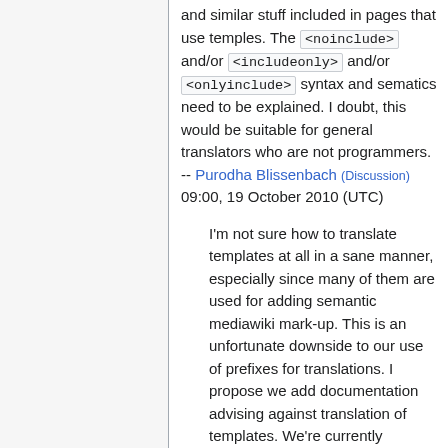and similar stuff included in pages that use temples. The <noinclude> and/or <includeonly> and/or <onlyinclude> syntax and sematics need to be explained. I doubt, this would be suitable for general translators who are not programmers. -- Purodha Blissenbach (Discussion) 09:00, 19 October 2010 (UTC)
I'm not sure how to translate templates at all in a sane manner, especially since many of them are used for adding semantic mediawiki mark-up. This is an unfortunate downside to our use of prefixes for translations. I propose we add documentation advising against translation of templates. We're currently working on doing translation of Case Studies; it's possible that